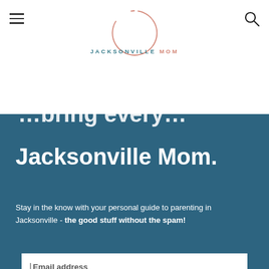[Figure (logo): Jacksonville Mom logo with circular salmon/pink arc design and teal text reading JACKSONVILLE MOM]
Jacksonville Mom.
Stay in the know with your personal guide to parenting in Jacksonville - the good stuff without the spam!
Email address
Subscribe
ages are taught how to be safe, confident, & comfortable in the water